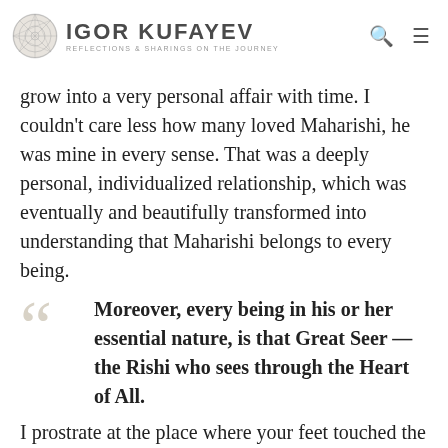IGOR KUFAYEV — REFLECTIONS & SHARINGS ON THE JOURNEY
grow into a very personal affair with time. I couldn't care less how many loved Maharishi, he was mine in every sense. That was a deeply personal, individualized relationship, which was eventually and beautifully transformed into understanding that Maharishi belongs to every being.
Moreover, every being in his or her essential nature, is that Great Seer — the Rishi who sees through the Heart of All.
I prostrate at the place where your feet touched the